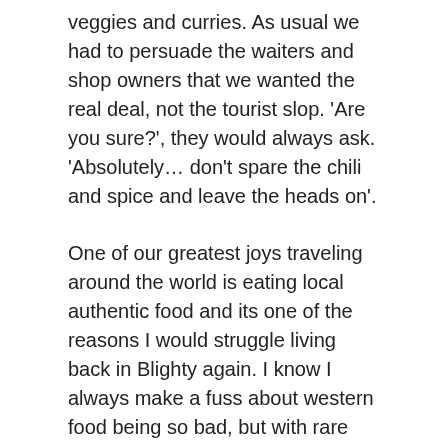veggies and curries. As usual we had to persuade the waiters and shop owners that we wanted the real deal, not the tourist slop. 'Are you sure?', they would always ask. 'Absolutely… don't spare the chili and spice and leave the heads on'.
One of our greatest joys traveling around the world is eating local authentic food and its one of the reasons I would struggle living back in Blighty again. I know I always make a fuss about western food being so bad, but with rare exceptions it usually is. The vast majority of my countrymen treat mealtimes like some unpleasant chore and feel guilty for being hungry. They make one concession to healthy eating… the salad.
By contrast, eating in Asia is a joyous occasion and Asians treat food very seriously. With the exception of